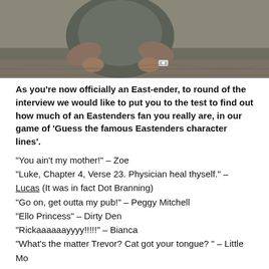[Figure (photo): Photo of a person's torso and hands, wearing a watch, sitting outdoors on stone surface, cropped at top of page.]
As you're now officially an East-ender, to round of the interview we would like to put you to the test to find out how much of an Eastenders fan you really are, in our game of 'Guess the famous Eastenders character lines'.
"You ain't my mother!" – Zoe
"Luke, Chapter 4, Verse 23. Physician heal thyself." – Lucas (It was in fact Dot Branning)
"Go on, get outta my pub!" – Peggy Mitchell
"Ello Princess" – Dirty Den
"Rickaaaaaayyyy!!!!!" – Bianca
"What's the matter Trevor? Cat got your tongue? " – Little Mo
And, finally what's next?
Well, I've got a few other projects in the pipeline, but the main thing that I am working on right now is my music. I've also had a few major